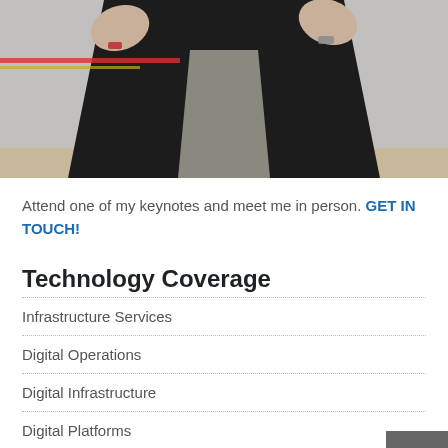[Figure (photo): Person in dark blazer gesturing with both hands in front of a light gray background; red and yellow horizontal lines visible in background]
Attend one of my keynotes and meet me in person. GET IN TOUCH!
Technology Coverage
Infrastructure Services
Digital Operations
Digital Infrastructure
Digital Platforms
Intelligent Automation